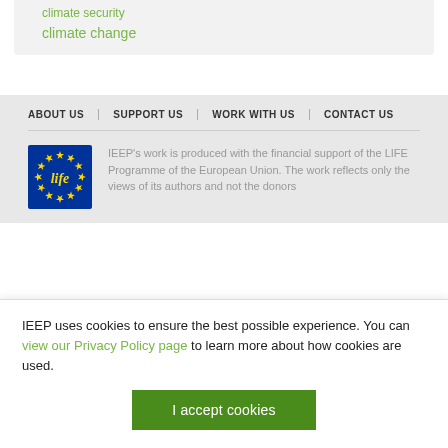climate security
climate change
ABOUT US | SUPPORT US | WORK WITH US | CONTACT US
[Figure (logo): LIFE Programme EU logo — blue background with yellow EU stars and cursive 'life' text]
IEEP's work is produced with the financial support of the LIFE Programme of the European Union. The work reflects only the views of its authors and not the donors
IEEP uses cookies to ensure the best possible experience. You can view our Privacy Policy page to learn more about how cookies are used.
I accept cookies